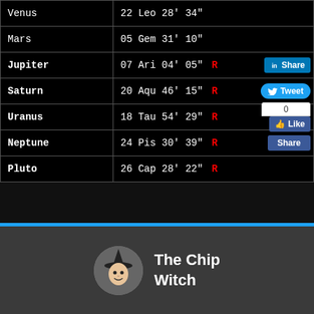| Planet | Position |
| --- | --- |
| Venus | 22 Leo 28' 34" |
| Mars | 05 Gem 31' 10" |
| Jupiter | 07 Ari 04' 05" R |
| Saturn | 20 Aqu 46' 15" R |
| Uranus | 18 Tau 54' 29" R |
| Neptune | 24 Pis 30' 39" R |
| Pluto | 26 Cap 28' 22" R |
[Figure (logo): The Chip Witch logo — circular portrait of a witch character with text 'The Chip Witch']